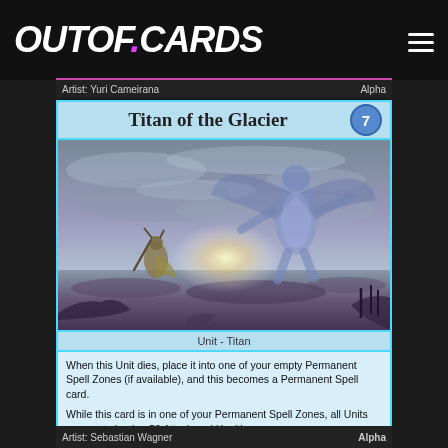OUTOF.CARDS
Artist: Yuri Cameirana    Alpha
[Figure (illustration): Trading card titled 'Titan of the Glacier' with cost 7. Shows a large alien/monster figure looming over a small warrior in a stormy landscape. Card type: Unit - Titan. Attack: 290, Mana cost: 5, Health: 330.]
Artist: Sebastian Wagner    Alpha